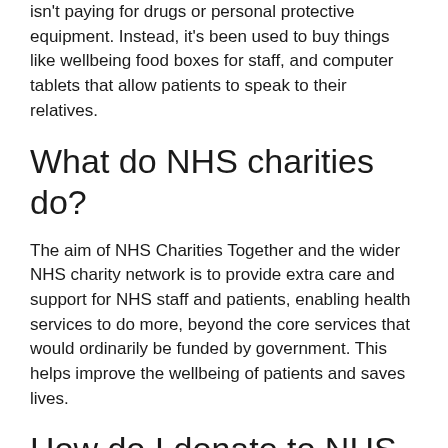isn't paying for drugs or personal protective equipment. Instead, it's been used to buy things like wellbeing food boxes for staff, and computer tablets that allow patients to speak to their relatives.
What do NHS charities do?
The aim of NHS Charities Together and the wider NHS charity network is to provide extra care and support for NHS staff and patients, enabling health services to do more, beyond the core services that would ordinarily be funded by government. This helps improve the wellbeing of patients and saves lives.
How do I donate to NHS Scotland?